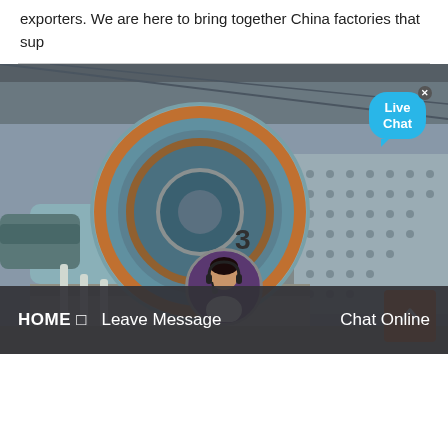exporters. We are here to bring together China factories that sup
[Figure (photo): Industrial ball mill machinery inside a factory shed, large cylindrical drum on concrete platform with metal framework and roof structure visible. Live Chat bubble in top right corner and scroll-to-top orange button in bottom right.]
HOME □  Leave Message  Chat Online